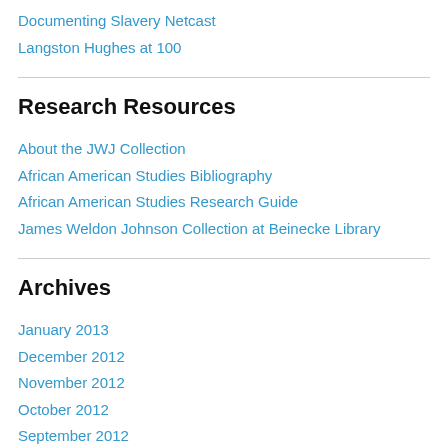Documenting Slavery Netcast
Langston Hughes at 100
Research Resources
About the JWJ Collection
African American Studies Bibliography
African American Studies Research Guide
James Weldon Johnson Collection at Beinecke Library
Archives
January 2013
December 2012
November 2012
October 2012
September 2012
August 2012